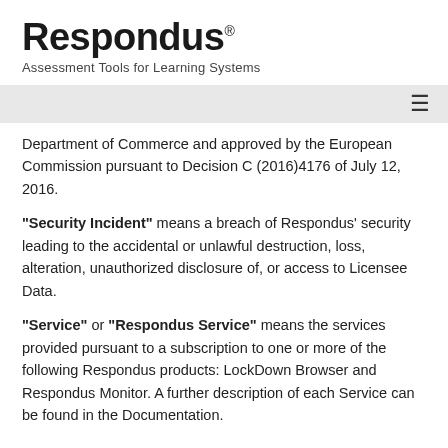Respondus® — Assessment Tools for Learning Systems
Department of Commerce and approved by the European Commission pursuant to Decision C (2016)4176 of July 12, 2016.
"Security Incident" means a breach of Respondus' security leading to the accidental or unlawful destruction, loss, alteration, unauthorized disclosure of, or access to Licensee Data.
"Service" or "Respondus Service" means the services provided pursuant to a subscription to one or more of the following Respondus products: LockDown Browser and Respondus Monitor. A further description of each Service can be found in the Documentation.